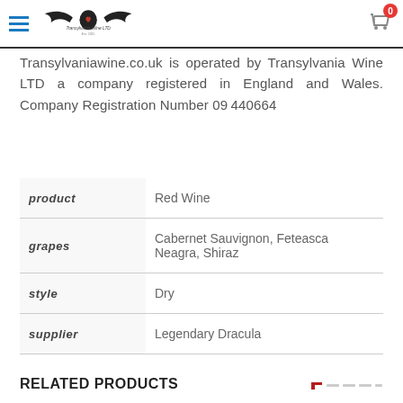Transylvania Wine LTD logo with hamburger menu and cart icon showing 0 items
Transylvaniawine.co.uk is operated by Transylvania Wine LTD a company registered in England and Wales. Company Registration Number 09440664
| product | Red Wine |
| grapes | Cabernet Sauvignon, Feteasca Neagra, Shiraz |
| style | Dry |
| supplier | Legendary Dracula |
RELATED PRODUCTS